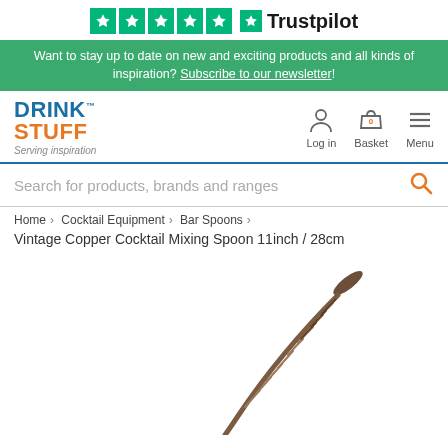[Figure (logo): Trustpilot 5-star rating bar with green star icons and Trustpilot logo]
Want to stay up to date on new and exciting products and all kinds of inspiration? Subscribe to our newsletter!
[Figure (logo): DrinkStuff logo with 'Serving inspiration' tagline, plus Log in, Basket (0), and Menu navigation icons]
Search for products, brands and ranges
Home > Cocktail Equipment > Bar Spoons >
Vintage Copper Cocktail Mixing Spoon 11inch / 28cm
[Figure (photo): Vintage copper cocktail mixing spoon with twisted handle and flat disc top, shown diagonally against white background]